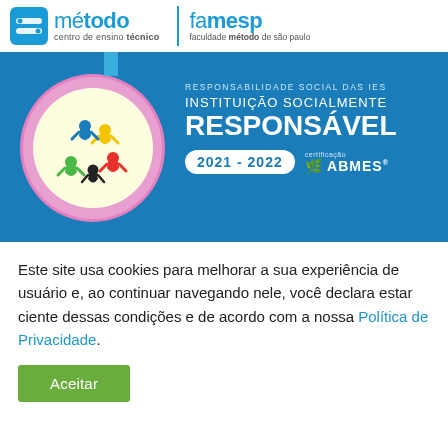[Figure (logo): Método centro de ensino técnico and FAMESP faculdade método de são paulo logos with teal/blue text and chain-link icon]
[Figure (illustration): Blue banner showing colorful figures/people medal seal with pink border and yellow background, text: RESPONSABILIDADE SOCIAL DAS IES / INSTITUIÇÃO SOCIALMENTE RESPONSÁVEL / 2021 - 2022 / certificação ABMES]
Este site usa cookies para melhorar a sua experiência de usuário e, ao continuar navegando nele, você declara estar ciente dessas condições e de acordo com a nossa Política de Privacidade.
Aceitar